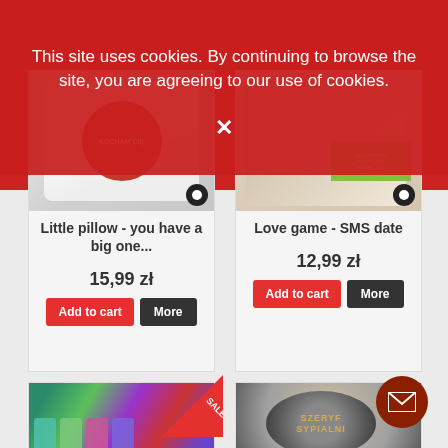[Figure (screenshot): E-commerce product page screenshot showing gift products with prices and add to cart buttons, with a cookie consent banner overlay at the top]
This site uses cookies. By continuing to browse the site, you are agreeing to our use of cookies.
Little pillow - you have a big one...
15,99 zł
Add to cart
More
Love game - SMS date
12,99 zł
Add to cart
More
SALE!